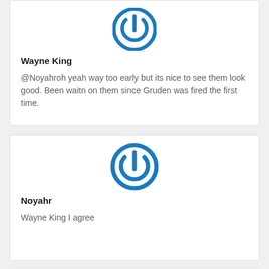[Figure (logo): Blue circular power button icon avatar for Wayne King]
Wayne King
@Noyahroh yeah way too early but its nice to see them look good. Been waitn on them since Gruden was fired the first time.
[Figure (logo): Blue circular power button icon avatar for Noyahr]
Noyahr
Wayne King I agree
[Figure (logo): Blue circular power button icon avatar (partial, third card)]